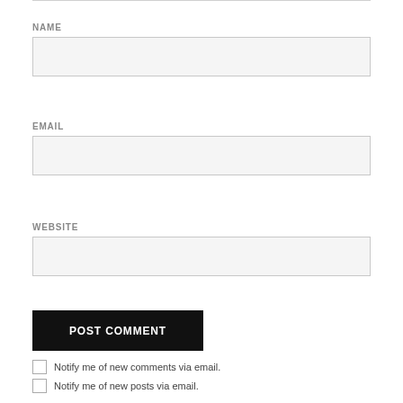NAME
[Figure (other): Empty text input field for NAME]
EMAIL
[Figure (other): Empty text input field for EMAIL]
WEBSITE
[Figure (other): Empty text input field for WEBSITE]
[Figure (other): POST COMMENT button — black background, white uppercase bold text]
Notify me of new comments via email.
Notify me of new posts via email.